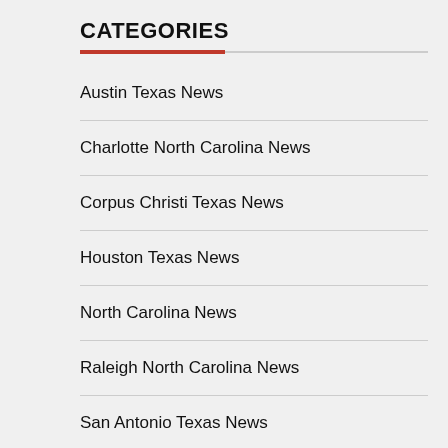CATEGORIES
Austin Texas News
Charlotte North Carolina News
Corpus Christi Texas News
Houston Texas News
North Carolina News
Raleigh North Carolina News
San Antonio Texas News
Texas News